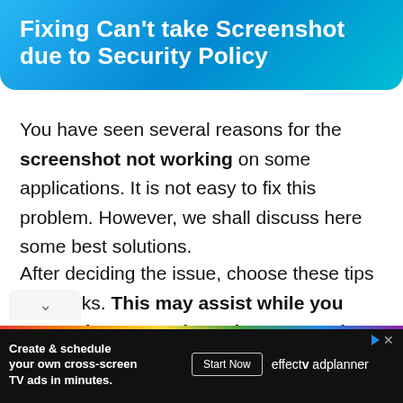Fixing Can't take Screenshot due to Security Policy
You have seen several reasons for the screenshot not working on some applications. It is not easy to fix this problem. However, we shall discuss here some best solutions.
After deciding the issue, choose these tips and tricks. This may assist while you can't take screenshots due to security policy.
[Figure (screenshot): Advertisement bar at bottom: effectv ad planner - Create & schedule your own cross-screen TV ads in minutes. Start Now button.]